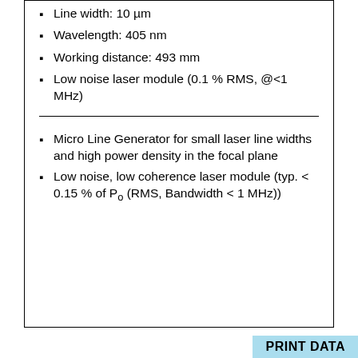Line width: 10 µm
Wavelength: 405 nm
Working distance: 493 mm
Low noise laser module (0.1 % RMS, @<1 MHz)
Micro Line Generator for small laser line widths and high power density in the focal plane
Low noise, low coherence laser module (typ. < 0.15 % of Po (RMS, Bandwidth < 1 MHz))
PRINT DATA